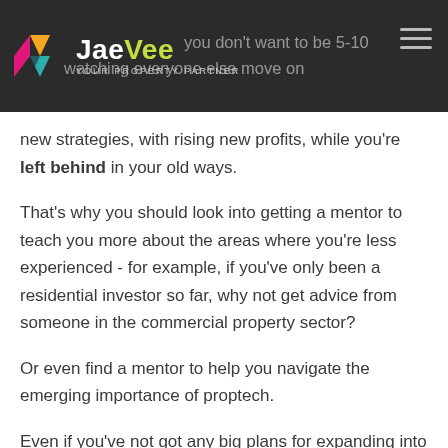JaeVee — YOUR PROPERTY PARTNER | you don't want to be 5-10... watching everyone else move on
new strategies, with rising new profits, while you're left behind in your old ways.
That's why you should look into getting a mentor to teach you more about the areas where you're less experienced - for example, if you've only been a residential investor so far, why not get advice from someone in the commercial property sector?
Or even find a mentor to help you navigate the emerging importance of proptech.
Even if you've not got any big plans for expanding into a certain sector, or learning about a new approach, you might just change your mind once you've heard